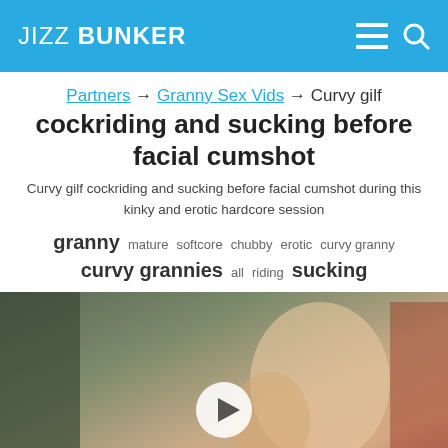JIZZ BUNKER
Partners → Granny Sex Vids → Curvy gilf cockriding and sucking before facial cumshot
Curvy gilf cockriding and sucking before facial cumshot
Curvy gilf cockriding and sucking before facial cumshot during this kinky and erotic hardcore session
granny  mature  softcore  chubby  erotic  curvy granny  curvy grannies  all  riding  sucking
[Figure (photo): Video thumbnail showing adult content with a play button overlay]